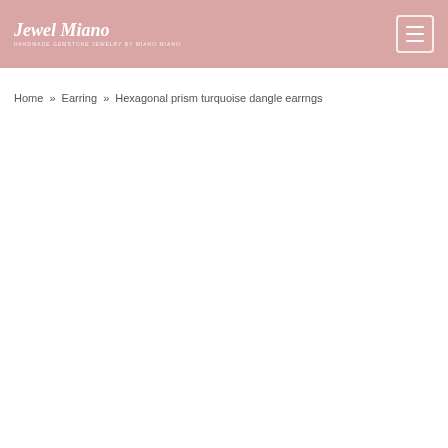Jewel Miano
Home » Earring » Hexagonal prism turquoise dangle earrngs